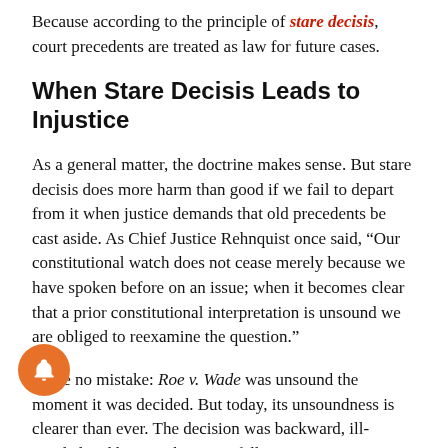Because according to the principle of stare decisis, court precedents are treated as law for future cases.
When Stare Decisis Leads to Injustice
As a general matter, the doctrine makes sense. But stare decisis does more harm than good if we fail to depart from it when justice demands that old precedents be cast aside. As Chief Justice Rehnquist once said, “Our constitutional watch does not cease merely because we have spoken before on an issue; when it becomes clear that a prior constitutional interpretation is unsound we are obliged to reexamine the question.”
Make no mistake: Roe v. Wade was unsound the moment it was decided. But today, its unsoundness is clearer than ever. The decision was backward, ill-minded and born with absolutely no fell...